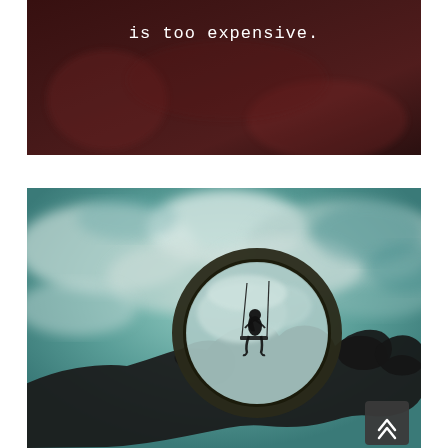[Figure (photo): Dark moody photograph with white text overlay reading 'is too expensive.' in monospace typewriter font, dark reddish-brown background]
[Figure (photo): Artistic photograph showing a hand holding a circular mirror/lens with cloudy teal sky background. Inside the circle is a silhouette of a person sitting on a swing. Bottom right has a dark scroll-to-top button with chevron arrows.]